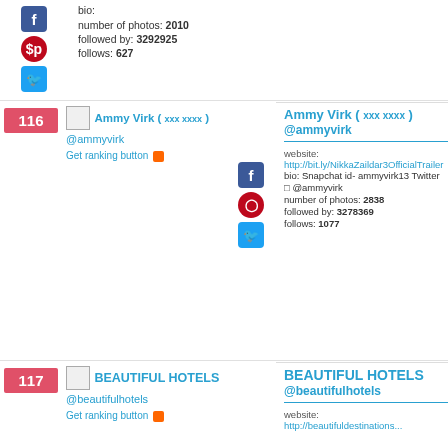bio:
number of photos: 2010
followed by: 3292925
follows: 627
116
Ammy Virk ( xxx xxxx ) @ammyvirk Get ranking button
Ammy Virk ( xxx xxxx ) @ammyvirk website: http://bit.ly/NikkaZaildar3OfficialTrailer bio: Snapchat id- ammyvirk13 Twitter @ammyvirk number of photos: 2838 followed by: 3278369 follows: 1077
117
BEAUTIFUL HOTELS @beautifulhotels Get ranking button
BEAUTIFUL HOTELS @beautifulhotels website: http://beautifuldestinations...